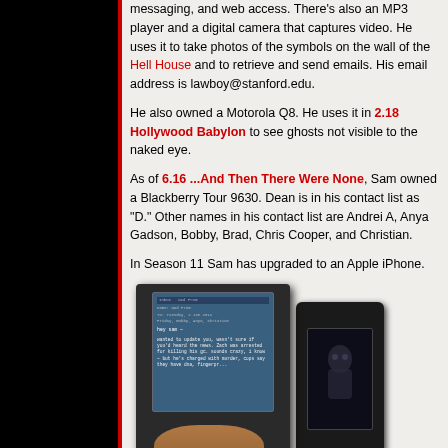messaging, and web access. There's also an MP3 player and a digital camera that captures video. He uses it to take photos of the symbols on the wall of the Hell House and to retrieve and send emails. His email address is lawboy@stanford.edu.
He also owned a Motorola Q8. He uses it in 2.18 Hollywood Babylon to see ghosts not visible to the naked eye.
As of 6.16 ...And Then There Were None, Sam owned a Blackberry Tour 9630. Dean is in his contact list as "D." Other names in his contact list are Andrei A, Anya Gadson, Bobby, Brad, Chris Cooper, and Christian.
In Season 11 Sam has upgraded to an Apple iPhone.
[Figure (photo): Photo of a Blackberry smartphone being held in a hand, showing a text message on screen. A second phone is partially visible on the right.]